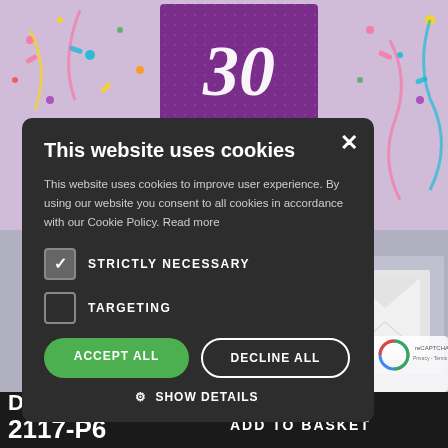[Figure (screenshot): Birthday card product page screenshot showing colorful confetti birthday cards in background, partially obscured by a cookie consent dialog]
This website uses cookies
This website uses cookies to improve user experience. By using our website you consent to all cookies in accordance with our Cookie Policy. Read more
STRICTLY NECESSARY (checked)
TARGETING (unchecked)
ACCEPT ALL
DECLINE ALL
SHOW DETAILS
2117-P6
ADD TO BASKET